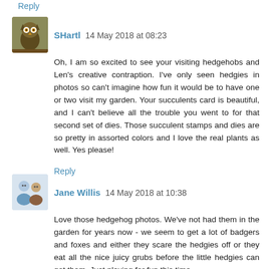Reply
SHartl 14 May 2018 at 08:23
Oh, I am so excited to see your visiting hedgehobs and Len's creative contraption. I've only seen hedgies in photos so can't imagine how fun it would be to have one or two visit my garden. Your succulents card is beautiful, and I can't believe all the trouble you went to for that second set of dies. Those succulent stamps and dies are so pretty in assorted colors and I love the real plants as well. Yes please!
Reply
Jane Willis 14 May 2018 at 10:38
Love those hedgehog photos. We've not had them in the garden for years now - we seem to get a lot of badgers and foxes and either they scare the hedgies off or they eat all the nice juicy grubs before the little hedgies can get them. Just playing for fun this time.